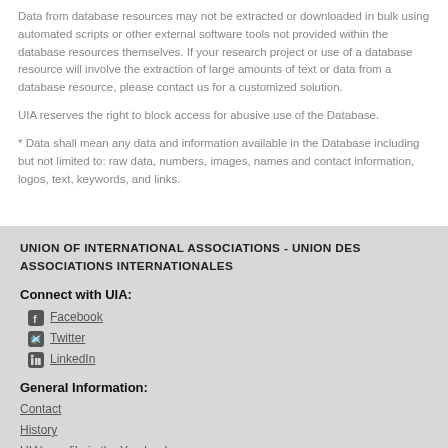Data from database resources may not be extracted or downloaded in bulk using automated scripts or other external software tools not provided within the database resources themselves. If your research project or use of a database resource will involve the extraction of large amounts of text or data from a database resource, please contact us for a customized solution.
UIA reserves the right to block access for abusive use of the Database.
* Data shall mean any data and information available in the Database including but not limited to: raw data, numbers, images, names and contact information, logos, text, keywords, and links.
UNION OF INTERNATIONAL ASSOCIATIONS - UNION DES ASSOCIATIONS INTERNATIONALES
Connect with UIA:
Facebook
Twitter
LinkedIn
General Information:
Contact
History
UIA's profile in the Yearbook